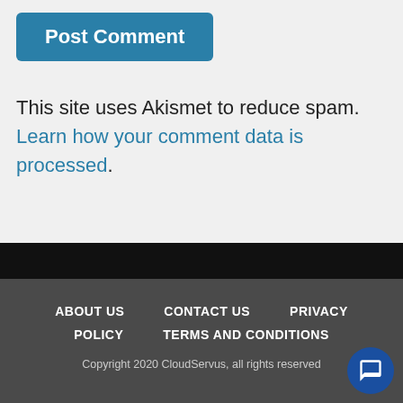Post Comment
This site uses Akismet to reduce spam. Learn how your comment data is processed.
ABOUT US   CONTACT US   PRIVACY POLICY   TERMS AND CONDITIONS
Copyright 2020 CloudServus, all rights reserved